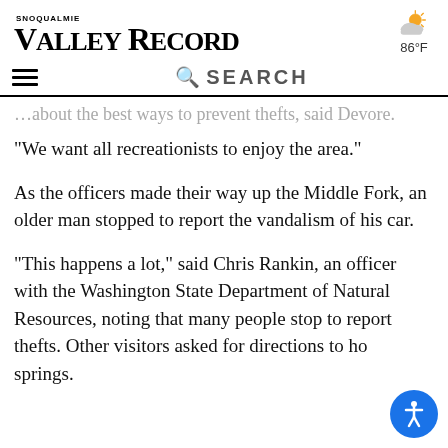SNOQUALMIE VALLEY RECORD | 86°F
…about the best ways to prevent thefts, said Devore.
“We want all recreationists to enjoy the area.”
As the officers made their way up the Middle Fork, an older man stopped to report the vandalism of his car.
“This happens a lot,” said Chris Rankin, an officer with the Washington State Department of Natural Resources, noting that many people stop to report thefts. Other visitors asked for directions to hot springs.